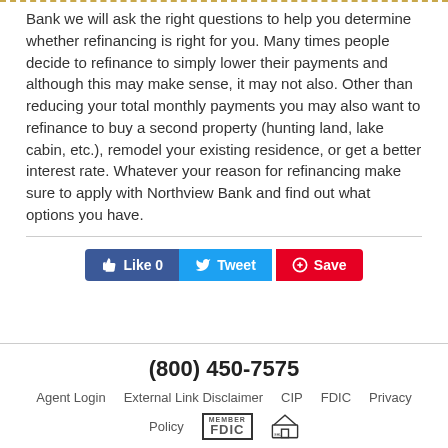Bank we will ask the right questions to help you determine whether refinancing is right for you. Many times people decide to refinance to simply lower their payments and although this may make sense, it may not also. Other than reducing your total monthly payments you may also want to refinance to buy a second property (hunting land, lake cabin, etc.), remodel your existing residence, or get a better interest rate. Whatever your reason for refinancing make sure to apply with Northview Bank and find out what options you have.
[Figure (other): Social sharing buttons: Like, Tweet, Save]
(800) 450-7575
Agent Login   External Link Disclaimer   CIP   FDIC   Privacy Policy